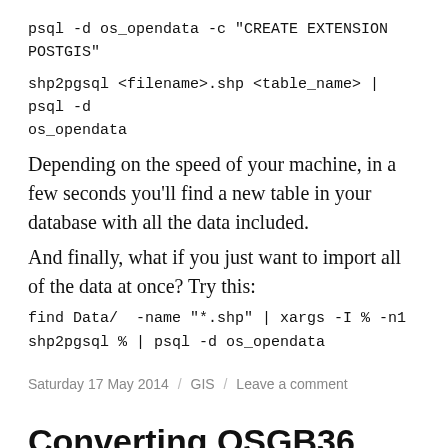psql -d os_opendata -c "CREATE EXTENSION POSTGIS"
shp2pgsql <filename>.shp <table_name> | psql -d os_opendata
Depending on the speed of your machine, in a few seconds you'll find a new table in your database with all the data included.
And finally, what if you just want to import all of the data at once? Try this:
find Data/ -name "*.shp" | xargs -I % -n1 shp2pgsql % | psql -d os_opendata
Saturday 17 May 2014 / GIS / Leave a comment
Converting OSGB36